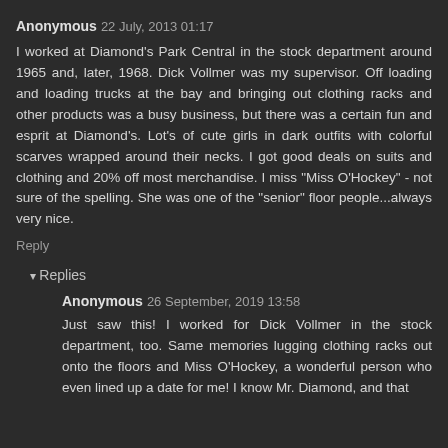Anonymous 22 July, 2013 01:17
I worked at Diamond's Park Central in the stock department around 1965 and, later, 1968. Dick Vollmer was my supervisor. Off loading and loading trucks at the bay and bringing out clothing racks and other products was a busy business, but there was a certain fun and esprit at Diamond's. Lot's of cute girls in dark outfits with colorful scarves wrapped around their necks. I got good deals on suits and clothing and 20% off most merchandise. I miss "Miss O'Hockey" - not sure of the spelling. She was one of the "senior" floor people...always very nice.
Reply
Replies
Anonymous 26 September, 2019 13:58
Just saw this! I worked for Dick Vollmer in the stock department, too. Same memories lugging clothing racks out onto the floors and Miss O'Hockey, a wonderful person who even lined up a date for me! I know Mr. Diamond, and that